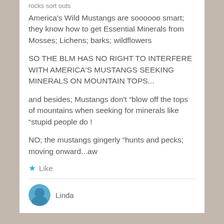rocks sort outs
America's Wild Mustangs are soooooo smart; they know how to get Essential Minerals from Mosses; Lichens; barks; wildflowers
SO THE BLM HAS NO RIGHT TO INTERFERE WITH AMERICA'S MUSTANGS SEEKING MINERALS ON MOUNTAIN TOPS...
and besides; Mustangs don't “blow off the tops of mountains when seeking for minerals like “stupid people do !
NO; the mustangs gingerly “hunts and pecks; moving onward...aw
★ Like
Linda